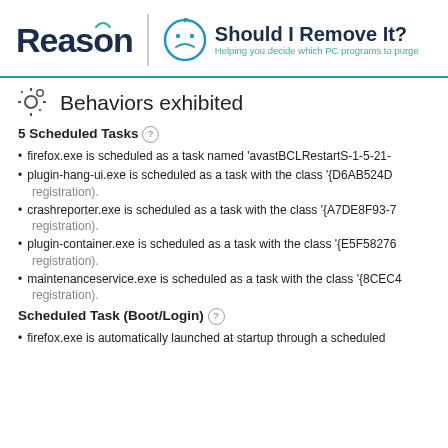Reason | Should I Remove It? — Helping you decide which PC programs to purge
Behaviors exhibited
5 Scheduled Tasks
firefox.exe is scheduled as a task named 'avastBCLRestartS-1-5-21-
plugin-hang-ui.exe is scheduled as a task with the class '{D6AB524D registration).
crashreporter.exe is scheduled as a task with the class '{A7DE8F93-7 registration).
plugin-container.exe is scheduled as a task with the class '{E5F58276 registration).
maintenanceservice.exe is scheduled as a task with the class '{8CEC4 registration).
Scheduled Task (Boot/Login)
firefox.exe is automatically launched at startup through a scheduled